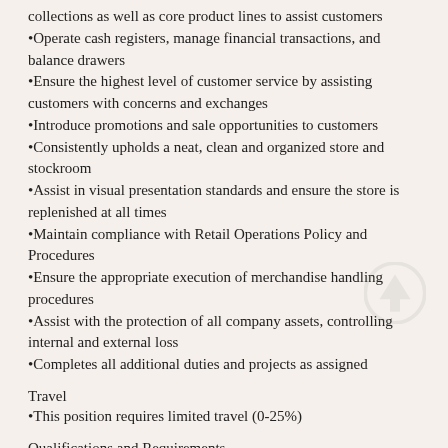collections as well as core product lines to assist customers
Operate cash registers, manage financial transactions, and balance drawers
Ensure the highest level of customer service by assisting customers with concerns and exchanges
Introduce promotions and sale opportunities to customers
Consistently upholds a neat, clean and organized store and stockroom
Assist in visual presentation standards and ensure the store is replenished at all times
Maintain compliance with Retail Operations Policy and Procedures
Ensure the appropriate execution of merchandise handling procedures
Assist with the protection of all company assets, controlling internal and external loss
Completes all additional duties and projects as assigned
Travel
This position requires limited travel (0-25%)
Qualifications and Requirements
One to two years of Retail Sales experience
Excellent communication, delegation, follow-up, and time-management skills